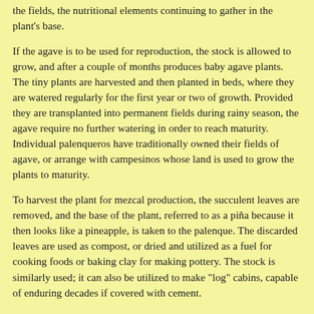the fields, the nutritional elements continuing to gather in the plant's base.
If the agave is to be used for reproduction, the stock is allowed to grow, and after a couple of months produces baby agave plants. The tiny plants are harvested and then planted in beds, where they are watered regularly for the first year or two of growth. Provided they are transplanted into permanent fields during rainy season, the agave require no further watering in order to reach maturity. Individual palenqueros have traditionally owned their fields of agave, or arrange with campesinos whose land is used to grow the plants to maturity.
To harvest the plant for mezcal production, the succulent leaves are removed, and the base of the plant, referred to as a piña because it then looks like a pineapple, is taken to the palenque. The discarded leaves are used as compost, or dried and utilized as a fuel for cooking foods or baking clay for making pottery. The stock is similarly used; it can also be utilized to make "log" cabins, capable of enduring decades if covered with cement.
Each fábrica de mezcal has at least one deep, round pit. Firewood, secured by scrounging the fields and forests, cut with machetes, off kills, and by use of axes, along with